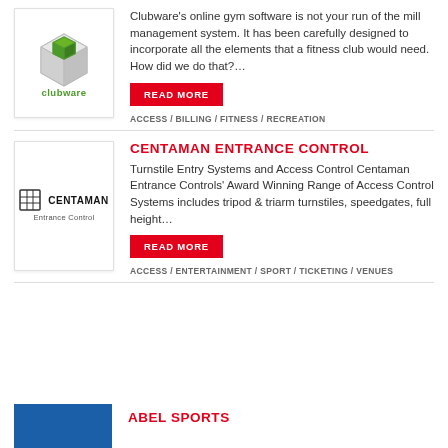[Figure (logo): Clubware logo with green cube icon and green text 'clubware']
Clubware's online gym software is not your run of the mill management system. It has been carefully designed to incorporate all the elements that a fitness club would need. How did we do that?…
READ MORE
ACCESS / BILLING / FITNESS / RECREATION
CENTAMAN ENTRANCE CONTROL
[Figure (logo): Centaman Entrance Control logo with grid icon and text 'CENTAMAN Entrance Control']
Turnstile Entry Systems and Access Control Centaman Entrance Controls' Award Winning Range of Access Control Systems includes tripod & triarm turnstiles, speedgates, full height…
READ MORE
ACCESS / ENTERTAINMENT / SPORT / TICKETING / VENUES
ABEL SPORTS
[Figure (logo): Abel Sports logo with blue background]